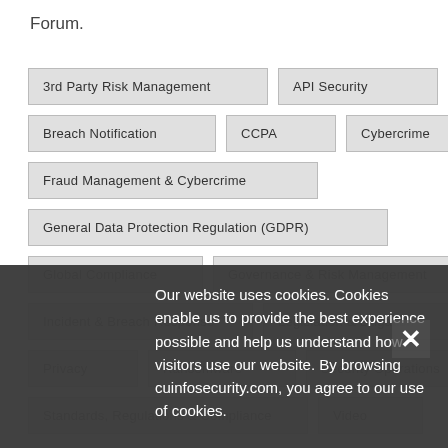Forum.
3rd Party Risk Management
API Security
Breach Notification
CCPA
Cybercrime
Fraud Management & Cybercrime
General Data Protection Regulation (GDPR)
Global Compliance
Governance & Risk Management
Incident & Breach Response
Legislation & Litigation
Privacy
Ransomware
Security Operations
Standards, Regulations & Compliance
Video
Our website uses cookies. Cookies enable us to provide the best experience possible and help us understand how visitors use our website. By browsing cuinfosecurity.com, you agree to our use of cookies.